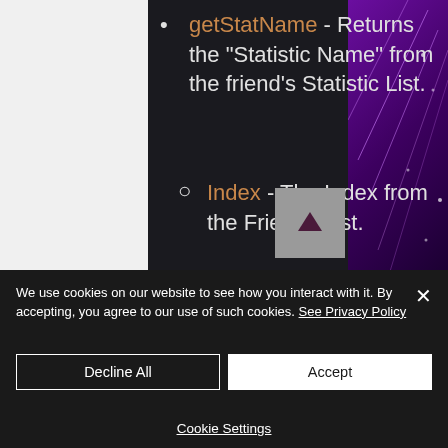getStatName - Returns the "Statistic Name" from the friend's Statistic List.
Index - The Index from the Friends List.
StatisticIndex - The
We use cookies on our website to see how you interact with it. By accepting, you agree to our use of such cookies. See Privacy Policy